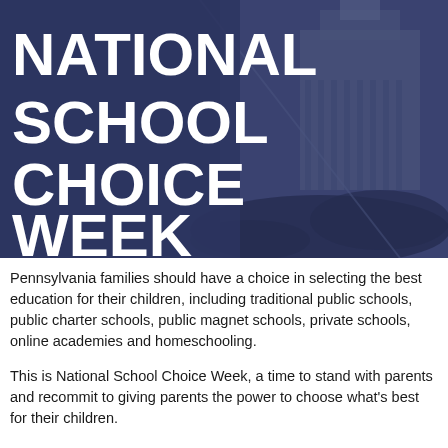[Figure (photo): Banner image with dark navy blue overlay on a photo of a crowd gathered in front of a government building (capitol). Large white bold text reads 'NATIONAL SCHOOL CHOICE WEEK' overlaid on the left side of the image.]
Pennsylvania families should have a choice in selecting the best education for their children, including traditional public schools, public charter schools, public magnet schools, private schools, online academies and homeschooling.
This is National School Choice Week, a time to stand with parents and recommit to giving parents the power to choose what's best for their children.